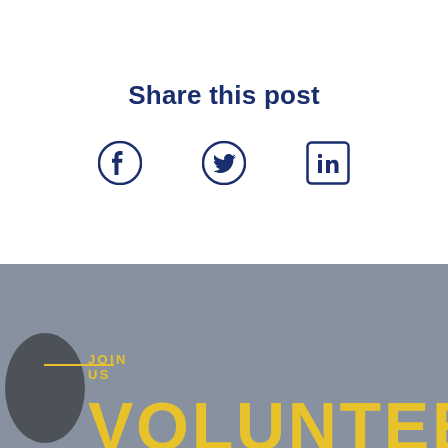Share this post
[Figure (infographic): Social media sharing icons: Facebook, Twitter, LinkedIn in dark navy blue]
[Figure (photo): Background photo with grey sky and partial view of a person, overlaid with JOIN US label, yellow horizontal line, and large VOLUNTEER text in yellow]
JOIN US
VOLUNTEER